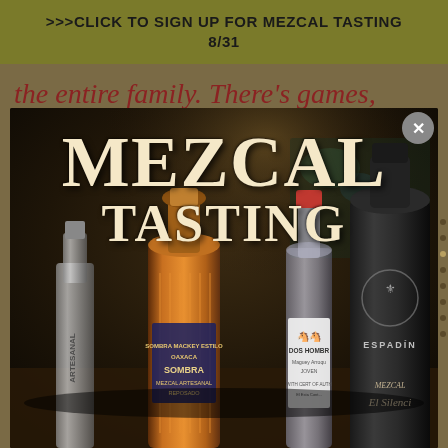>>>CLICK TO SIGN UP FOR MEZCAL TASTING 8/31
the entire family. There's games, drink specials, live music and, of
[Figure (photo): Popup modal showing mezcal tasting advertisement. Large 'MEZCAL TASTING' text overlaid on a dark photo of several mezcal bottles including Sombra Mezcal Artesanal Reposado, Dos Hombres, and El Silencio Espadin. A close/dismiss button (X) appears in the top right corner of the popup.]